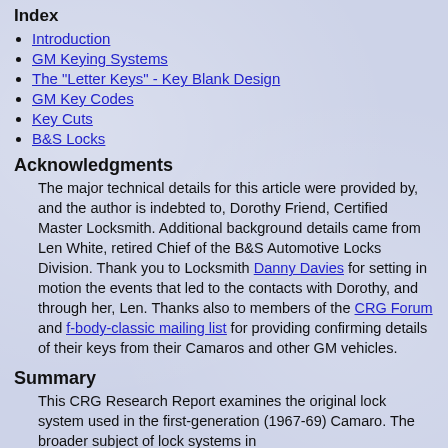Index
Introduction
GM Keying Systems
The "Letter Keys" - Key Blank Design
GM Key Codes
Key Cuts
B&S Locks
Acknowledgments
The major technical details for this article were provided by, and the author is indebted to, Dorothy Friend, Certified Master Locksmith. Additional background details came from Len White, retired Chief of the B&S Automotive Locks Division. Thank you to Locksmith Danny Davies for setting in motion the events that led to the contacts with Dorothy, and through her, Len. Thanks also to members of the CRG Forum and f-body-classic mailing list for providing confirming details of their keys from their Camaros and other GM vehicles.
Summary
This CRG Research Report examines the original lock system used in the first-generation (1967-69) Camaro. The broader subject of lock systems in